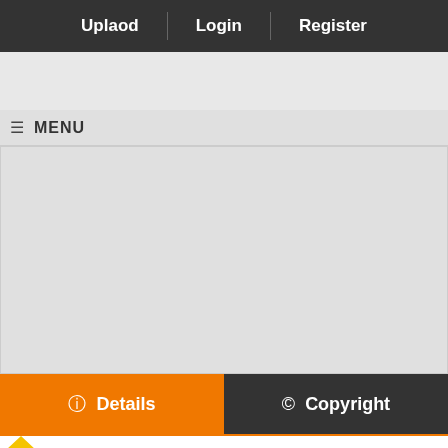Uplaod | Login | Register
[Figure (screenshot): Gray advertisement/banner area]
≡ MENU
[Figure (screenshot): Large gray content area placeholder]
ⓘ Details
© Copyright
[Figure (logo): Partial logo visible at bottom with yellow triangle]